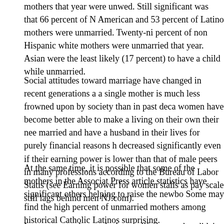mothers that year were unwed. Still significant was that 66 percent of N... American and 53 percent of Latino mothers were unmarried. Twenty-ni... percent of non Hispanic white mothers were unmarried that year. Asian were the least likely (17 percent) to have a child while unmarried.
Social attitudes toward marriage have changed in recent generations a... a single mother is much less frowned upon by society than in past deca... women have become better able to make a living on their own their nee... married and have a husband in their lives for purely financial reasons h... decreased significantly even if their earning power is lower than that of male peers in many professions according to the Bureau of Labor Statis... (see Earning power for women stalls as pay scale still lags behind men NJ.com).
At the same time, it is possible that some of the mothers in the Associat... Press article statistics have significant others helping to raise the newbo... Some may find the high percent of unmarried mothers among historical Catholic Latinos surprising.
In some cases they make have a life partner but didn't marry because...